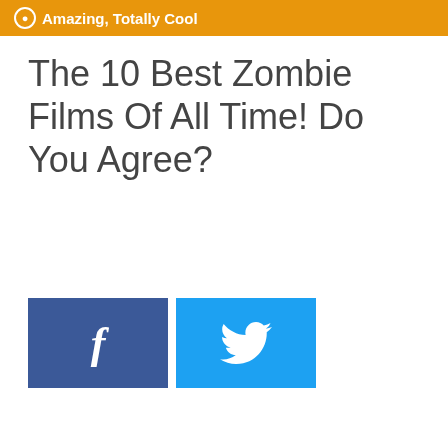Amazing, Totally Cool
The 10 Best Zombie Films Of All Time! Do You Agree?
[Figure (other): Facebook and Twitter share buttons side by side]